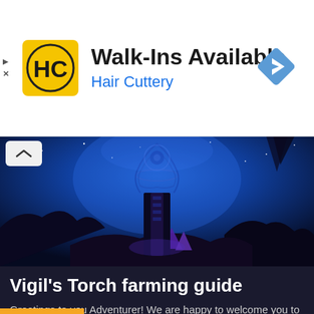[Figure (infographic): Hair Cuttery advertisement banner with yellow HC logo, text 'Walk-Ins Available' and 'Hair Cuttery' in blue, and a blue diamond navigation icon on the right]
[Figure (screenshot): World of Warcraft / fantasy game screenshot showing a dark, atmospheric blue-tinted landscape with a tall spiral tower structure, rocky terrain, and glowing purple elements under a starry sky]
Vigil's Torch farming guide
Greetings to you Adventurer! We are happy to welcome you to yet another one in our new series focusing on gathering crafting materials that arrived with the dawn of the Shadowlands…